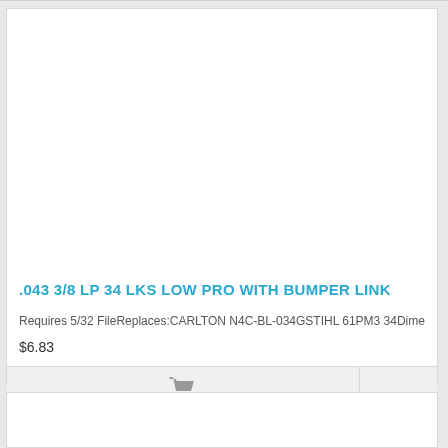.043 3/8 LP 34 LKS LOW PRO WITH BUMPER LINK
Requires 5/32 FileReplaces:CARLTON N4C-BL-034GSTIHL 61PM3 34Dime
$6.83
[Figure (other): Shopping cart icon button in footer of product card]
[Figure (other): Partial view of a second product card at the bottom]